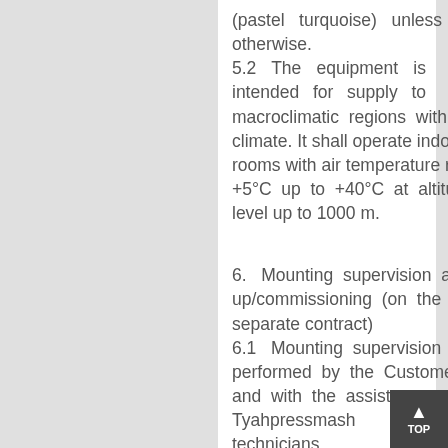(pastel turquoise) unless specified otherwise.
5.2 The equipment is intended for supply to macroclimatic regions with temperate climate. It shall operate indoors in heated rooms with air temperature ranging from +5°C up to +40°C at altitude above sea level up to 1000 m.
6.  Mounting supervision and set-up/commissioning (on the basis of a separate contract)
6.1  Mounting supervision shall be performed by the Customers' personnel and with the assistance of OAO Tyahpressmash technicians.
6.2  Set-up/commissioning shall be performed by OAO Tyazhpressmash technicians with the participation of the